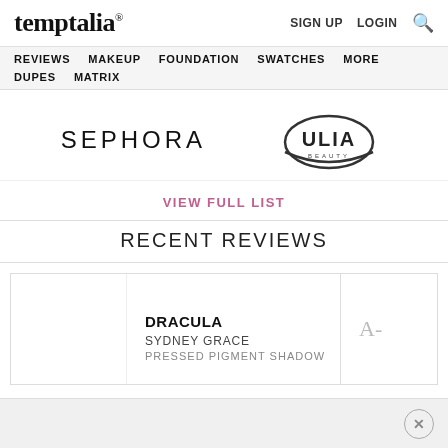temptalia® | SIGN UP  LOGIN  🔍
REVIEWS  MAKEUP  FOUNDATION  SWATCHES  MORE  DUPES  MATRIX
[Figure (logo): SEPHORA text logo]
[Figure (logo): ULIA BEAUTY circular logo]
VIEW FULL LIST
RECENT REVIEWS
DRACULA
SYDNEY GRACE
PRESSED PIGMENT SHADOW
A-